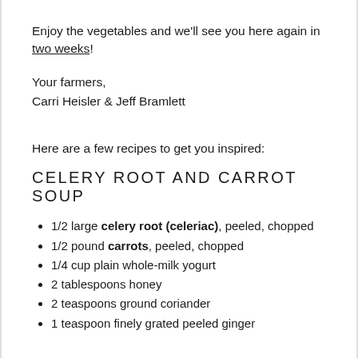Enjoy the vegetables and we'll see you here again in two weeks!
Your farmers,
Carri Heisler & Jeff Bramlett
Here are a few recipes to get you inspired:
CELERY ROOT AND CARROT SOUP
1/2 large celery root (celeriac), peeled, chopped
1/2 pound carrots, peeled, chopped
1/4 cup plain whole-milk yogurt
2 tablespoons honey
2 teaspoons ground coriander
1 teaspoon finely grated peeled ginger